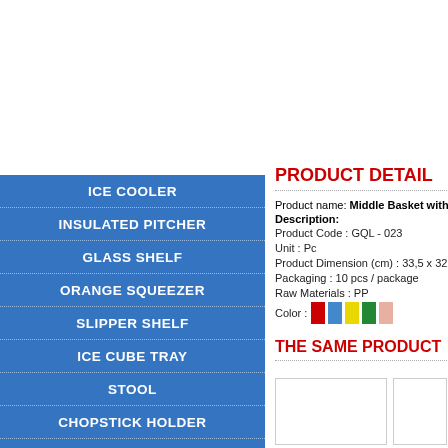ICE COOLER
INSULATED PITCHER
GLASS SHELF
ORANGE SQUEEZER
SLIPPER SHELF
ICE CUBE TRAY
STOOL
CHOPSTICK HOLDER
PAPER BOX
GLASS TRAY
PRODUCT DETAIL
Product name: Middle Basket with
Description:
Product Code :  GQL - 023
Unit : Pc
Product Dimension (cm) : 33,5 x 32,5
Packaging : 10 pcs / package
Raw Materials : PP
Color :
THE SAME PRODUCT